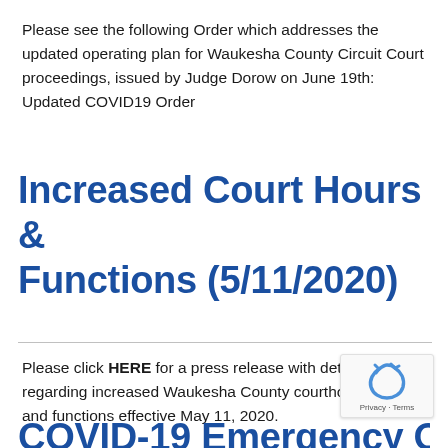Please see the following Order which addresses the updated operating plan for Waukesha County Circuit Court proceedings, issued by Judge Dorow on June 19th: Updated COVID19 Order
Increased Court Hours & Functions (5/11/2020)
Please click HERE for a press release with details regarding increased Waukesha County courthouse hours and functions effective May 11, 2020.
COVID-19 Emergency Order